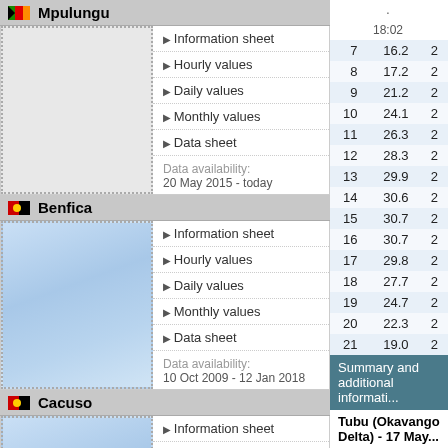Mpulungu
Information sheet
Hourly values
Daily values
Monthly values
Data sheet
Data availability:
20 May 2015 - today
Benfica
Information sheet
Hourly values
Daily values
Monthly values
Data sheet
Data availability:
10 Oct 2009 - 12 Jan 2018
Cacuso
Information sheet
Hourly values
Daily values
Monthly values
Data sheet
Data availability:
15 Apr 2014 - 9 Mar 2016
| time | col1 | col2 |
| --- | --- | --- |
| 18:02 |  |  |
| 7 | 16.2 | 2 |
| 8 | 17.2 | 2 |
| 9 | 21.2 | 2 |
| 10 | 24.1 | 2 |
| 11 | 26.3 | 2 |
| 12 | 28.3 | 2 |
| 13 | 29.9 | 2 |
| 14 | 30.6 | 2 |
| 15 | 30.7 | 2 |
| 16 | 30.7 | 2 |
| 17 | 29.8 | 2 |
| 18 | 27.7 | 2 |
| 19 | 24.7 | 2 |
| 20 | 22.3 | 2 |
| 21 | 19.0 | 2 |
| 22 | 17.9 | 2 |
| 23 | 17.3 | 2 |
| 24 | 17.4 | 2 |
Summary and additional informati...
Tubu (Okavango Delta) - 17 May...